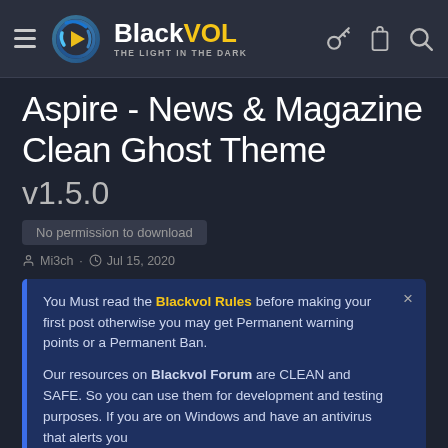BlackVOL – THE LIGHT IN THE DARK (navigation header with hamburger menu, logo, and icons)
Aspire - News & Magazine Clean Ghost Theme
v1.5.0
No permission to download
Mi3ch · Jul 15, 2020
You Must read the Blackvol Rules before making your first post otherwise you may get Permanent warning points or a Permanent Ban.

Our resources on Blackvol Forum are CLEAN and SAFE. So you can use them for development and testing purposes. If you are on Windows and have an antivirus that alerts you